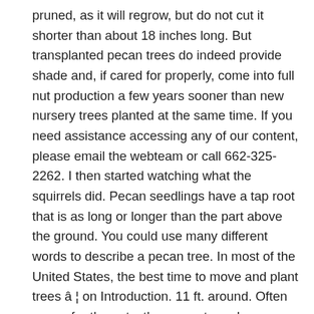pruned, as it will regrow, but do not cut it shorter than about 18 inches long. But transplanted pecan trees do indeed provide shade and, if cared for properly, come into full nut production a few years sooner than new nursery trees planted at the same time. If you need assistance accessing any of our content, please email the webteam or call 662-325-2262. I then started watching what the squirrels did. Pecan seedlings have a tap root that is as long or longer than the part above the ground. You could use many different words to describe a pecan tree. In most of the United States, the best time to move and plant trees â¦ on Introduction. 11 ft. around. Often grown for the nuts, the pecan tree also provides shade and hard wood. A pecan enterprise may fail if the orchard is too big or too small. §25-61-19. The largest member of the hickory family, pecan trees often grow to a height of over 70 feet with a spread of greater than 80 feet. The size of the tree. Burlap, heavy